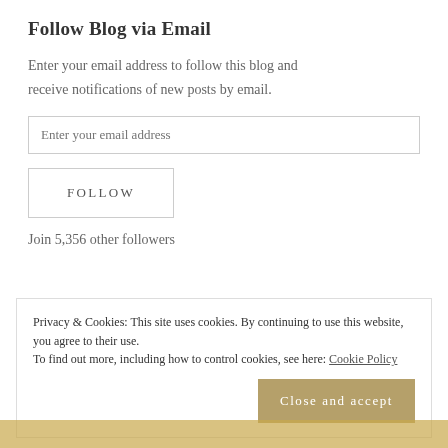Follow Blog via Email
Enter your email address to follow this blog and receive notifications of new posts by email.
Enter your email address
FOLLOW
Join 5,356 other followers
Privacy & Cookies: This site uses cookies. By continuing to use this website, you agree to their use.
To find out more, including how to control cookies, see here: Cookie Policy
Close and accept